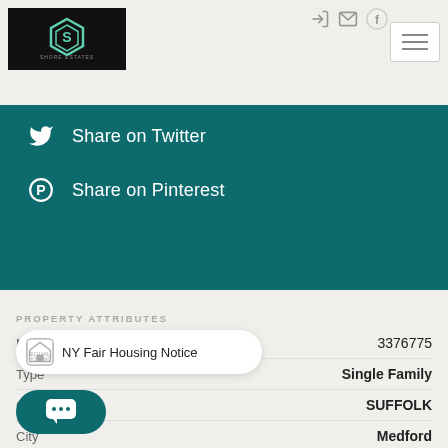[Figure (logo): Shore Estates Realty logo on black background with teal hexagon S icon]
Share on Twitter
Share on Pinterest
PROPERTY ATTRIBUTES
| Attribute | Value |
| --- | --- |
| MLS# | 3376775 |
| Type | Single Family |
| County | SUFFOLK |
| City | Medford |
| Area | 25 |
NY Fair Housing Notice